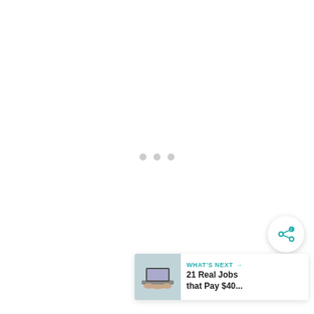[Figure (other): Loading spinner with three gray dots centered on a mostly blank white page]
[Figure (other): Circular share button with teal share icon and plus sign, bottom right]
[Figure (other): What's Next card with thumbnail image of hands on laptop, teal header text reading WHAT'S NEXT with arrow, and bold title text '21 Real Jobs that Pay $40...']